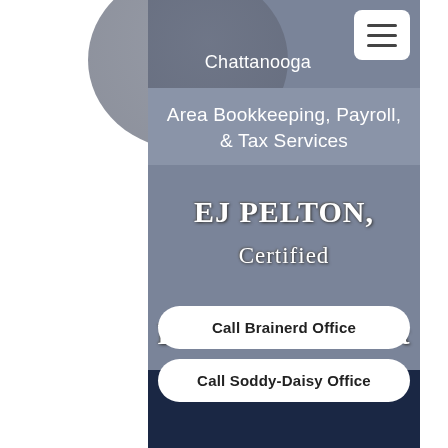Chattanooga Area Bookkeeping, Payroll, & Tax Services
EJ PELTON, Certified Public Accountant
Call Brainerd Office
Call Soddy-Daisy Office